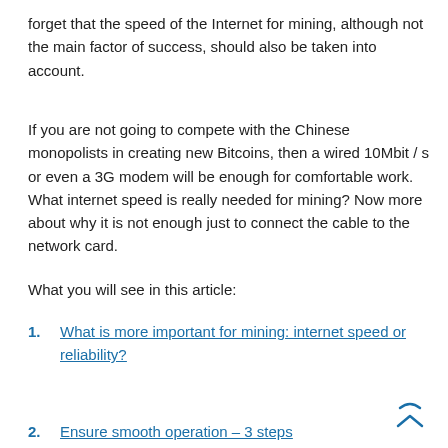forget that the speed of the Internet for mining, although not the main factor of success, should also be taken into account.
If you are not going to compete with the Chinese monopolists in creating new Bitcoins, then a wired 10Mbit / s or even a 3G modem will be enough for comfortable work. What internet speed is really needed for mining? Now more about why it is not enough just to connect the cable to the network card.
What you will see in this article:
What is more important for mining: internet speed or reliability?
Ensure smooth operation – 3 steps